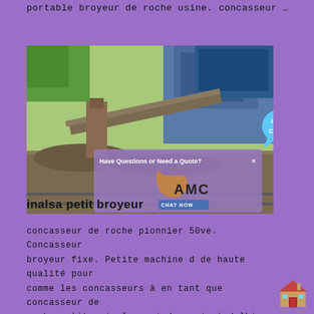portable broyeur de roche usine. concasseur …
[Figure (photo): Industrial rock crushing machinery at a site, with a chat overlay showing 'Have Questions or Need a Quote?' and AMC logo with 'CHAT NOW' button, plus a Live Chat speech bubble.]
inalsa petit broyeur
concasseur de roche pionnier 50ve. Concasseur broyeur fixe. Petite machine d de haute qualité pour comme les concasseurs à en tant que concasseur de roche petite. inalsa grinder prix à delhi.